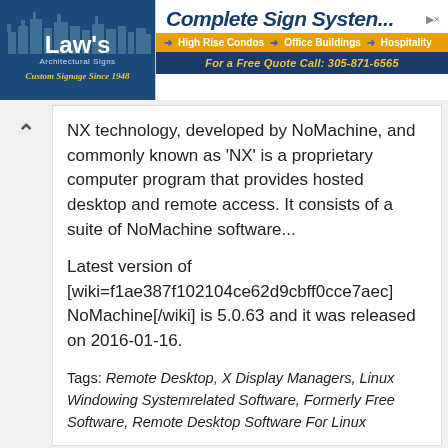[Figure (logo): Law's Architectural Signs banner ad with city skyline silhouette, 'Custom Signage Since 1948' tagline]
[Figure (screenshot): Complete Sign Systems ad banner with links to High Rise Condos, Office Buildings, Hospitality and phone number 305-871-6565]
NX technology, developed by NoMachine, and commonly known as 'NX' is a proprietary computer program that provides hosted desktop and remote access. It consists of a suite of NoMachine software...
Latest version of [wiki=f1ae387f102104ce62d9cbff0cce7aec]NoMachine[/wiki] is 5.0.63 and it was released on 2016-01-16.
Tags: Remote Desktop, X Display Managers, Linux Windowing Systemrelated Software, Formerly Free Software, Remote Desktop Software For Linux
Apple Remote Desktop by Apple Inc.